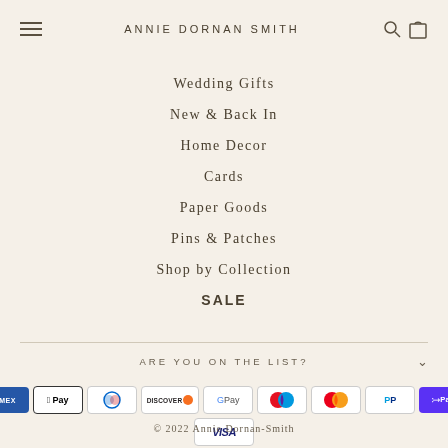ANNIE DORNAN SMITH
Wedding Gifts
New & Back In
Home Decor
Cards
Paper Goods
Pins & Patches
Shop by Collection
SALE
ARE YOU ON THE LIST?
[Figure (other): Payment method icons: American Express, Apple Pay, Diners Club, Discover, Google Pay, Maestro, Mastercard, PayPal, Shop Pay, Visa]
© 2022 Annie Dornan-Smith